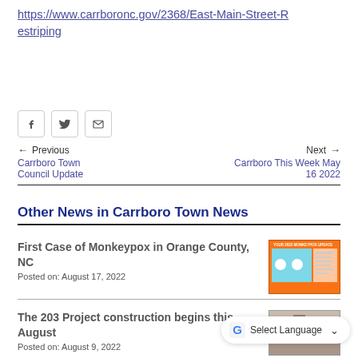https://www.carrboronc.gov/2368/East-Main-Street-Restriping
[Figure (infographic): Social sharing buttons: Facebook, Twitter, Email]
← Previous Carrboro Town Council Update | Next → Carrboro This Week May 16 2022
Other News in Carrboro Town News
First Case of Monkeypox in Orange County, NC
Posted on: August 17, 2022
[Figure (infographic): Monkeypox information infographic thumbnail with orange border]
The 203 Project construction begins this August
Posted on: August 9, 2022
[Figure (photo): Construction project photo thumbnail]